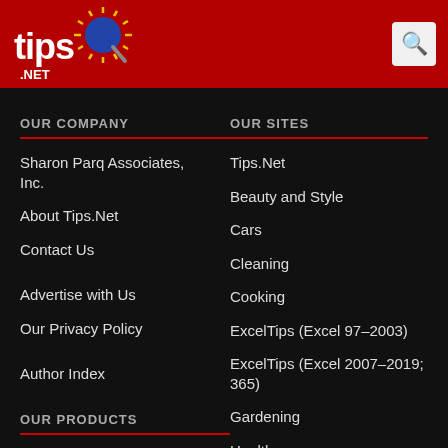[Figure (logo): Tips.Net logo with magnifying glass and sunburst on red header background]
OUR COMPANY
Sharon Parq Associates, Inc.
About Tips.Net
Contact Us
Advertise with Us
Our Privacy Policy
Author Index
OUR PRODUCTS
OUR SITES
Tips.Net
Beauty and Style
Cars
Cleaning
Cooking
ExcelTips (Excel 97–2003)
ExcelTips (Excel 2007–2019; 365)
Gardening
Health
Home Improvement
Money and Finances